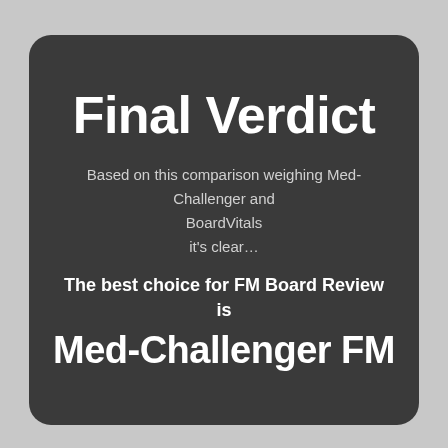Final Verdict
Based on this comparison weighing Med-Challenger and BoardVitals it's clear…
The best choice for FM Board Review is
Med-Challenger FM